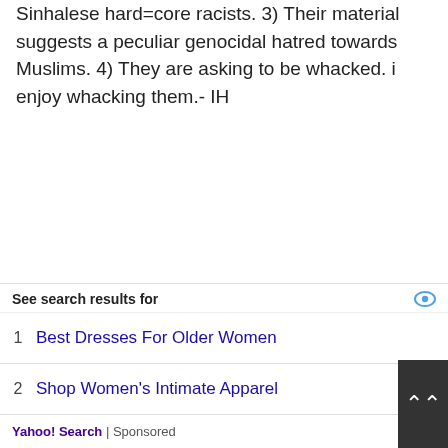Sinhalese hard=core racists. 3) Their material suggests a peculiar genocidal hatred towards Muslims. 4) They are asking to be whacked. i enjoy whacking them.- IH
[Figure (illustration): Geometric avatar icon with brown/dark star-burst pattern on white background]
Dr. Gnana Sankaralingam / September 2, 2015
[Figure (infographic): Thumbs up (green) button with count 1, thumbs down (red) button with count 0]
Izeth,
See search results for
1   Best Dresses For Older Women
2   Shop Women's Intimate Apparel
Yahoo! Search | Sponsored